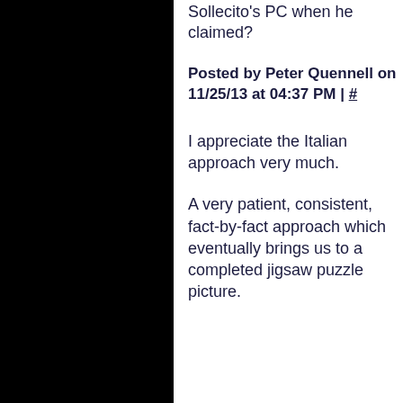Sollecito's PC when he claimed?
Posted by Peter Quennell on 11/25/13 at 04:37 PM | #
I appreciate the Italian approach very much.
A very patient, consistent, fact-by-fact approach which eventually brings us to a completed jigsaw puzzle picture.